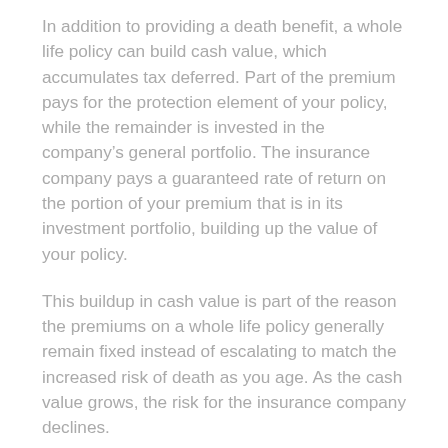In addition to providing a death benefit, a whole life policy can build cash value, which accumulates tax deferred. Part of the premium pays for the protection element of your policy, while the remainder is invested in the company’s general portfolio. The insurance company pays a guaranteed rate of return on the portion of your premium that is in its investment portfolio, building up the value of your policy.
This buildup in cash value is part of the reason the premiums on a whole life policy generally remain fixed instead of escalating to match the increased risk of death as you age. As the cash value grows, the risk for the insurance company declines.
Although the cash value in your policy is “your” money, you can’t simply withdraw it as needed, as you would cash from a savings account; but you do have limited access to your funds. You can either surrender the policy for its cash value or take the